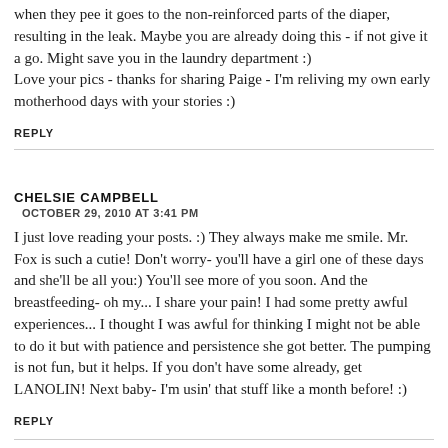when they pee it goes to the non-reinforced parts of the diaper, resulting in the leak. Maybe you are already doing this - if not give it a go. Might save you in the laundry department :)
Love your pics - thanks for sharing Paige - I'm reliving my own early motherhood days with your stories :)
REPLY
CHELSIE CAMPBELL
OCTOBER 29, 2010 AT 3:41 PM
I just love reading your posts. :) They always make me smile. Mr. Fox is such a cutie! Don't worry- you'll have a girl one of these days and she'll be all you:) You'll see more of you soon. And the breastfeeding- oh my... I share your pain! I had some pretty awful experiences... I thought I was awful for thinking I might not be able to do it but with patience and persistence she got better. The pumping is not fun, but it helps. If you don't have some already, get LANOLIN! Next baby- I'm usin' that stuff like a month before! :)
REPLY